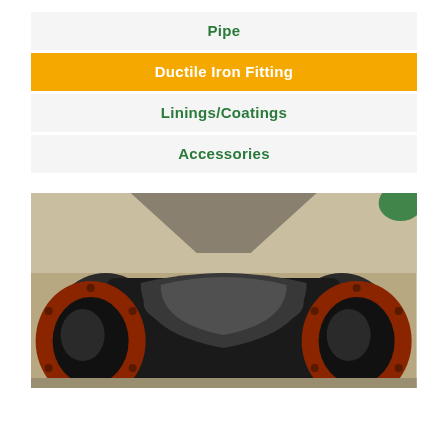Pipe
Ductile Iron Fitting
Linings/Coatings
Accessories
[Figure (photo): Close-up photograph of a ductile iron pipe fitting (elbow/tee) with red-painted flanged ends and dark metallic body, resting on a sandy surface.]